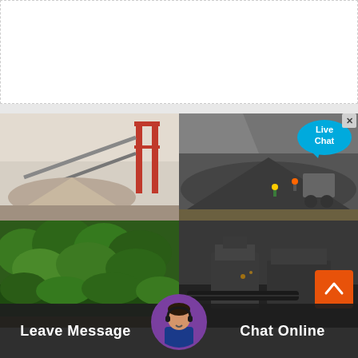[Figure (photo): White box area at top of page, partially visible content placeholder with dashed border]
[Figure (photo): Top-left quadrant: Industrial aggregate processing plant with conveyor belts, red steel structures, and large piles of sand/gravel in a hazy atmosphere]
[Figure (photo): Top-right quadrant: Large stockpile of dark aggregate/gravel with heavy machinery and workers visible, industrial mining site]
[Figure (photo): Bottom-left quadrant: Dense green vegetation/trees covering hillside or embankment]
[Figure (photo): Bottom-right quadrant: Dark industrial crusher or mining machinery in operation]
Live Chat
Leave Message
Chat Online